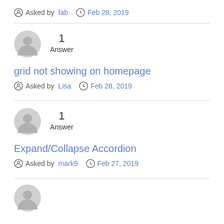Asked by fab  Feb 28, 2019
[Figure (illustration): Grey user avatar icon (circle with person silhouette)]
1
Answer
grid not showing on homepage
Asked by Lisa  Feb 28, 2019
[Figure (illustration): Grey user avatar icon (circle with person silhouette)]
1
Answer
Expand/Collapse Accordion
Asked by mark9  Feb 27, 2019